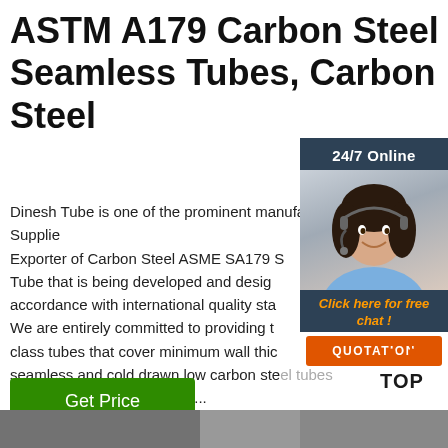ASTM A179 Carbon Steel Seamless Tubes, Carbon Steel
Dinesh Tube is one of the prominent manufacturers, Stockist, Trader, Supplier & Exporter of Carbon Steel ASME SA179 S Tube that is being developed and designed in accordance with international quality standards. We are entirely committed to providing the best class tubes that cover minimum wall thickness seamless and cold drawn low carbon steel tubes for various applications like ...
[Figure (photo): Customer service agent photo with headset, overlaid with 24/7 Online header, Click here for free chat! text, and QUOTATION button]
[Figure (logo): TOP logo with orange dotted triangle/arrow shape above the word TOP]
[Figure (photo): Bottom image strip (partial product or background photo)]
Get Price